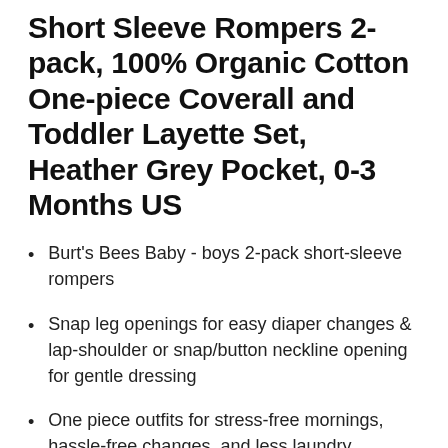Short Sleeve Rompers 2-pack, 100% Organic Cotton One-piece Coverall and Toddler Layette Set, Heather Grey Pocket, 0-3 Months US
Burt's Bees Baby - boys 2-pack short-sleeve rompers
Snap leg openings for easy diaper changes & lap-shoulder or snap/button neckline opening for gentle dressing
One piece outfits for stress-free mornings, hassle-free changes, and less laundry
100% organic, GOTS certified, breathable cotton - great for sensitive skin